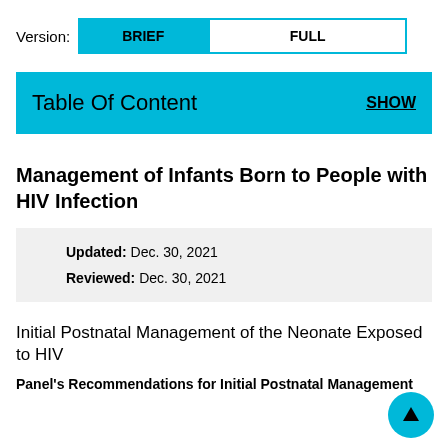Version: BRIEF   FULL
Table Of Content   SHOW
Management of Infants Born to People with HIV Infection
Updated: Dec. 30, 2021
Reviewed: Dec. 30, 2021
Initial Postnatal Management of the Neonate Exposed to HIV
Panel's Recommendations for Initial Postnatal Management